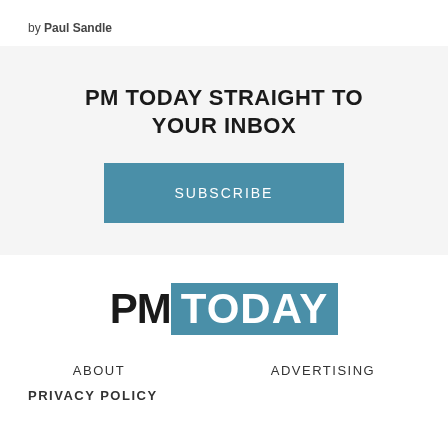by Paul Sandle
PM TODAY STRAIGHT TO YOUR INBOX
[Figure (other): SUBSCRIBE button — teal/blue rectangle with white uppercase text 'SUBSCRIBE']
[Figure (logo): PM TODAY logo — 'PM' in bold black, 'TODAY' in white on teal/blue background]
ABOUT
ADVERTISING
PRIVACY POLICY